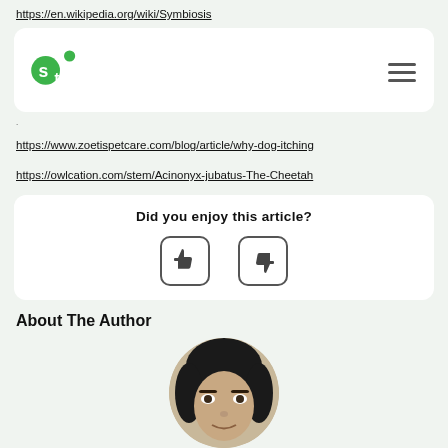https://en.wikipedia.org/wiki/Symbiosis
[Figure (logo): ScienceTrends logo (green circle letters 'st') with hamburger menu icon on right]
https://www.zoetispetcare.com/blog/article/why-dog-itching
https://owlcation.com/stem/Acinonyx-jubatus-The-Cheetah
Did you enjoy this article?
[Figure (infographic): Thumbs up and thumbs down buttons in rounded square boxes]
About The Author
[Figure (photo): Circular portrait photo of a person with dark hair]